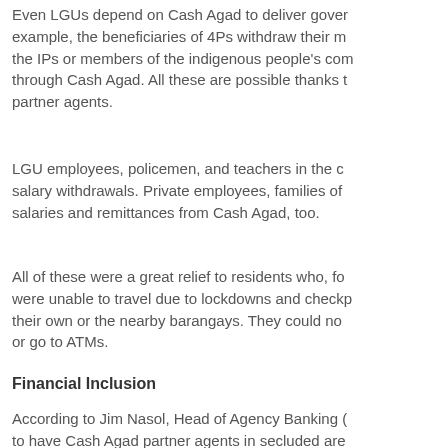Even LGUs depend on Cash Agad to deliver gover example, the beneficiaries of 4Ps withdraw their m the IPs or members of the indigenous people's com through Cash Agad. All these are possible thanks t partner agents.
LGU employees, policemen, and teachers in the c salary withdrawals. Private employees, families of salaries and remittances from Cash Agad, too.
All of these were a great relief to residents who, fo were unable to travel due to lockdowns and checkp their own or the nearby barangays. They could no or go to ATMs.
Financial Inclusion
According to Jim Nasol, Head of Agency Banking ( to have Cash Agad partner agents in secluded are